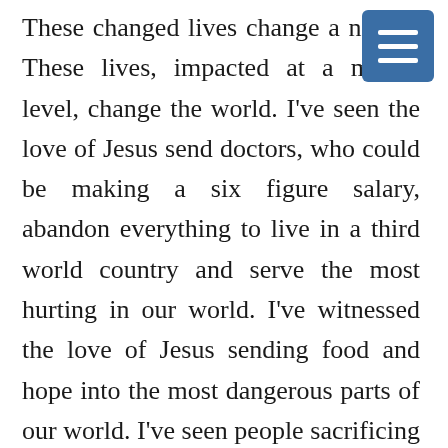These changed lives change a nation. These lives, impacted at a micro-level, change the world. I've seen the love of Jesus send doctors, who could be making a six figure salary, abandon everything to live in a third world country and serve the most hurting in our world. I've witnessed the love of Jesus sending food and hope into the most dangerous parts of our world. I've seen people sacrificing money and time to build homes, provide resources, and show love to the poorest of the poor – of all races and religions. I know those who walk into our